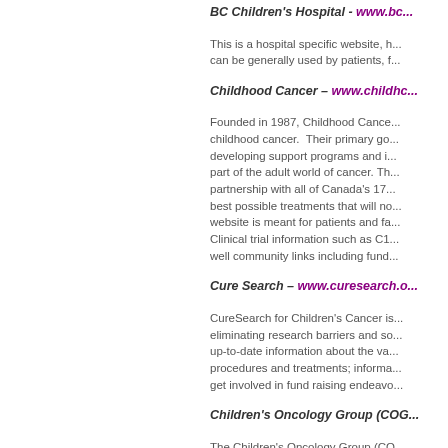BC Children's Hospital - www.bc...
This is a hospital specific website, h... can be generally used by patients, f...
Childhood Cancer – www.childhc...
Founded in 1987, Childhood Cance... childhood cancer. Their primary go... developing support programs and i... part of the adult world of cancer. Th... partnership with all of Canada's 17... best possible treatments that will no... website is meant for patients and fa... Clinical trial information such as C1... well community links including fund...
Cure Search – www.curesearch.o...
CureSearch for Children's Cancer is... eliminating research barriers and so... up-to-date information about the va... procedures and treatments; informa... get involved in fund raising endeavo...
Children's Oncology Group (COG...
The Children's Oncology Group (CO...